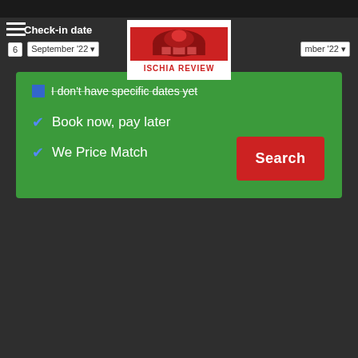[Figure (logo): Ischia Review logo — red dome/building illustration above bold red text ISCHIA REVIEW on white background]
Check-in date
6  September '22  ...  mber '22
I don't have specific dates yet
Book now, pay later
We Price Match
Search